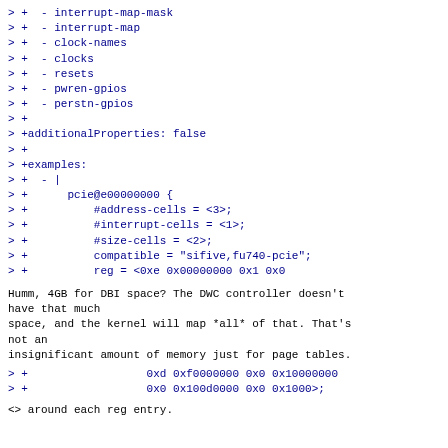> +  - interrupt-map-mask
> +  - interrupt-map
> +  - clock-names
> +  - clocks
> +  - resets
> +  - pwren-gpios
> +  - perstn-gpios
> +
> +additionalProperties: false
> +
> +examples:
> +  - |
> +      pcie@e00000000 {
> +          #address-cells = <3>;
> +          #interrupt-cells = <1>;
> +          #size-cells = <2>;
> +          compatible = "sifive,fu740-pcie";
> +          reg = <0xe 0x00000000 0x1 0x0
Humm, 4GB for DBI space? The DWC controller doesn't have that much
space, and the kernel will map *all* of that. That's not an
insignificant amount of memory just for page tables.
> +                  0xd 0xf0000000 0x0 0x10000000
> +                  0x0 0x100d0000 0x0 0x1000>;
<> around each reg entry.